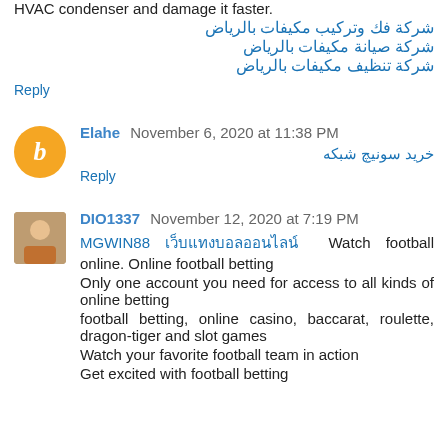HVAC condenser and damage it faster.
شركة فك وتركيب مكيفات بالرياض
شركة صيانة مكيفات بالرياض
شركة تنظيف مكيفات بالرياض
Reply
Elahe   November 6, 2020 at 11:38 PM
خرید سونیچ شبکه
Reply
DIO1337   November 12, 2020 at 7:19 PM
MGWIN88 เว็บแทงบอลออนไลน์ Watch football online. Online football betting
Only one account you need for access to all kinds of online betting
football betting, online casino, baccarat, roulette, dragon-tiger and slot games
Watch your favorite football team in action
Get excited with football betting